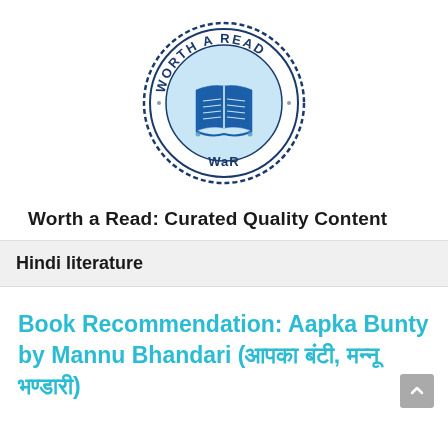[Figure (logo): Worth a Read (WaR) circular stamp logo with blue open book in center, text 'WORTH A READ' around the top and 'WaR' at the bottom]
Worth a Read: Curated Quality Content
Hindi literature
Book Recommendation: Aapka Bunty by Mannu Bhandari (आपका बंटी, मन्नू भण्डारी)